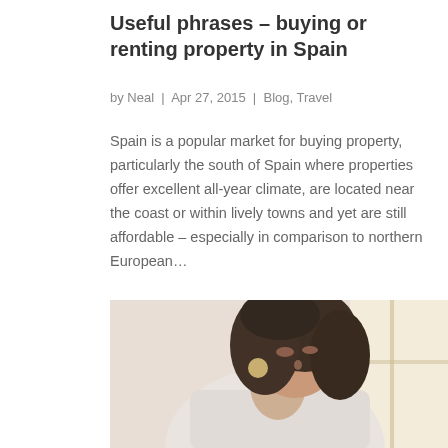Useful phrases – buying or renting property in Spain
by Neal  |  Apr 27, 2015  |  Blog, Travel
Spain is a popular market for buying property, particularly the south of Spain where properties offer excellent all-year climate, are located near the coast or within lively towns and yet are still affordable – especially in comparison to northern European…
[Figure (photo): Woman with curly hair and large round earrings wearing a white shirt, looking downward, photographed near a bright window]